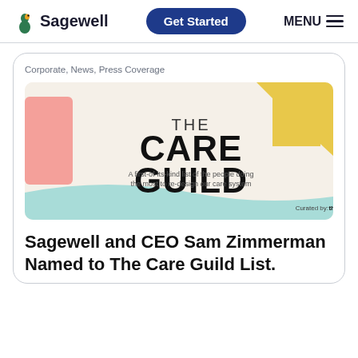Sagewell | Get Started | MENU
Corporate, News, Press Coverage
[Figure (illustration): The Care Guild logo image: cream/beige background with pink rectangle on left, yellow upward arrow on right, large bold text 'THE CARE GUILD', subtitle 'A first-of-its-kind list of the people doing the most to re-design our care system', teal wave at bottom, 'Curated by: the|holdii' at bottom right]
Sagewell and CEO Sam Zimmerman Named to The Care Guild List.